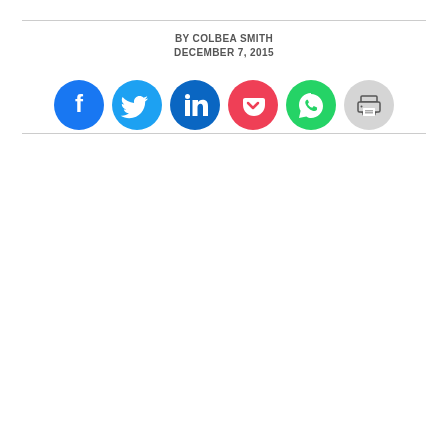BY COLBEA SMITH
DECEMBER 7, 2015
[Figure (infographic): Row of six social share buttons: Facebook (blue), Twitter (light blue), LinkedIn (dark blue), Pocket (red/pink), WhatsApp (green), Print (light gray)]